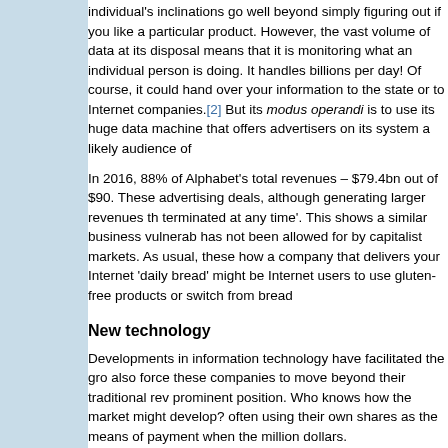individual's inclinations go well beyond simply figuring out if you like a particular product. However, the vast volume of data at its disposal means that it is monitoring what an individual person is doing. It handles billions per day! Of course, it could hand over your information to the state or to Internet companies.[2] But its modus operandi is to use its huge data machine that offers advertisers on its system a likely audience of
In 2016, 88% of Alphabet's total revenues – $79.4bn out of $90. These advertising deals, although generating larger revenues th terminated at any time'. This shows a similar business vulnerab has not been allowed for by capitalist markets. As usual, these how a company that delivers your Internet 'daily bread' might be Internet users to use gluten-free products or switch from bread
New technology
Developments in information technology have facilitated the gro also force these companies to move beyond their traditional rev prominent position. Who knows how the market might develop? often using their own shares as the means of payment when the million dollars.
This is a game where bright sparks in the relevant area of techn innovative application and wait for a Google, or Facebook, or A show up with an attractive bid for their business, in the process better. Google has bought more than 200 technology companie